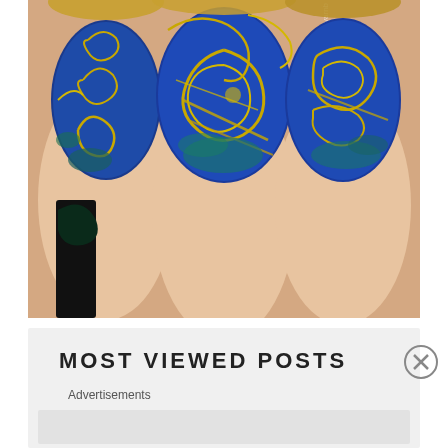[Figure (photo): Close-up photograph of fingernails decorated with Van Gogh Starry Night nail art — deep blue polish with gold glitter swirls and circular patterns on multiple fingers]
MOST VIEWED POSTS
Advertisements